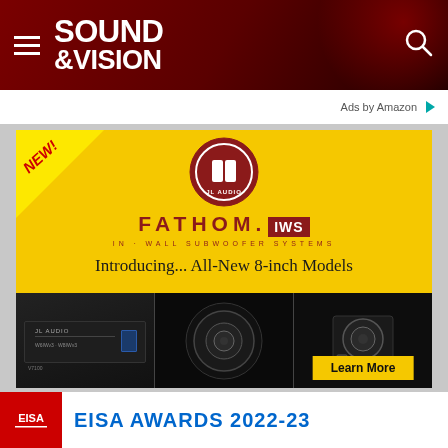SOUND & VISION
Ads by Amazon
[Figure (infographic): JL Audio FATHOM IWS In-Wall Subwoofer Systems advertisement. Yellow background with NEW! badge in top-left corner, JL Audio circular logo at top center, FATHOM IWS branding, text 'Introducing... All-New 8-inch Models', three product photos showing amplifier and subwoofer units, and a Learn More button.]
[Figure (infographic): EISA Awards 2022-23 banner with red EISA logo box on the left and blue bold text 'EISA AWARDS 2022-23' on white background.]